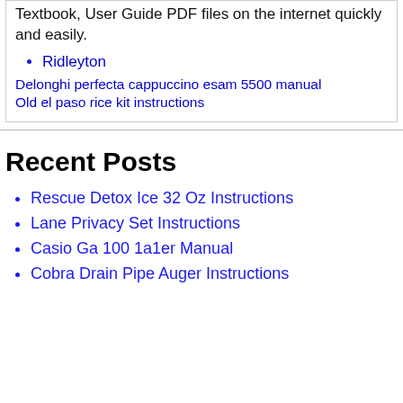Textbook, User Guide PDF files on the internet quickly and easily.
Ridleyton
Delonghi perfecta cappuccino esam 5500 manual
Old el paso rice kit instructions
Recent Posts
Rescue Detox Ice 32 Oz Instructions
Lane Privacy Set Instructions
Casio Ga 100 1a1er Manual
Cobra Drain Pipe Auger Instructions